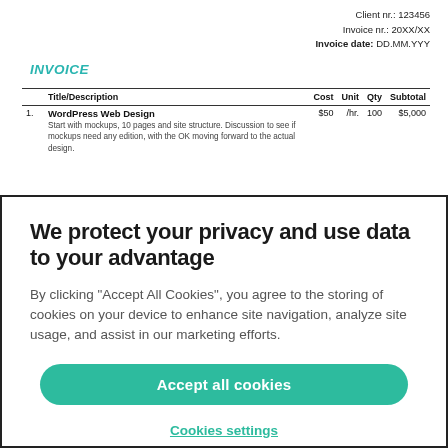Client nr.: 123456
Invoice nr.: 20XX/XX
Invoice date: DD.MM.YYY
INVOICE
|  | Title/Description | Cost | Unit | Qty | Subtotal |
| --- | --- | --- | --- | --- | --- |
| 1. | WordPress Web Design
Start with mockups, 10 pages and site structure. Discussion to see if mockups need any edition, with the OK moving forward to the actual design. | $50 | /hr. | 100 | $5,000 |
We protect your privacy and use data to your advantage
By clicking “Accept All Cookies”, you agree to the storing of cookies on your device to enhance site navigation, analyze site usage, and assist in our marketing efforts.
Accept all cookies
Cookies settings